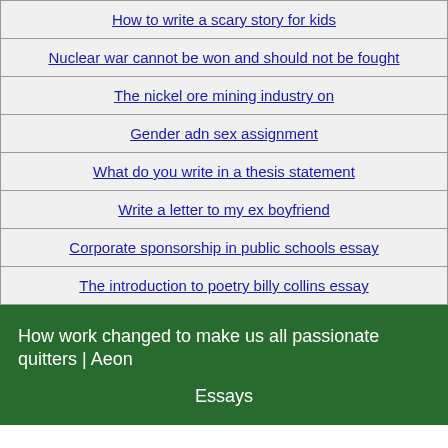| How to write a scary story for kids |
| Nuclear war cannot be won and should not be fought |
| The nickel ore mining industry on |
| Gender adn sex assignment |
| What do you write in a thesis statement |
| Write a letter to my ex boyfriend |
| Corporate sponsorship in public schools essay |
| The introduction to poetry billy collins essay |
How work changed to make us all passionate quitters | Aeon Essays